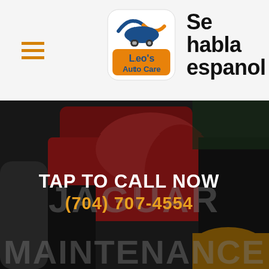[Figure (logo): Leo's Auto Care logo with car silhouette and orange/blue styling]
Se habla espanol
[Figure (photo): Mechanic working on red car engine, dark overlay, with TAP TO CALL NOW and phone number overlay]
TAP TO CALL NOW
(704) 707-4554
JAGUAR
MAINTENANCE